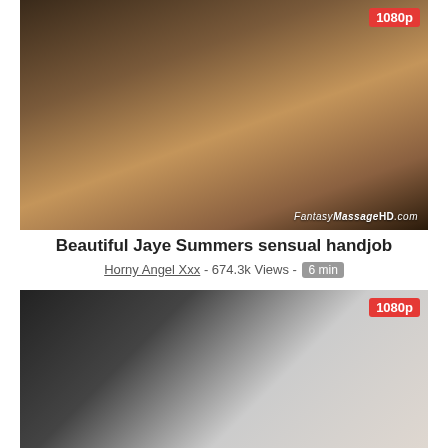[Figure (photo): Video thumbnail showing a woman smiling, close-up portrait, with FantasyMassageHD.com watermark and 1080p badge]
Beautiful Jaye Summers sensual handjob
Horny Angel Xxx - 674.3k Views - 6 min
[Figure (photo): Video thumbnail showing a woman with glasses and curly dark hair with a young man, 1080p badge]